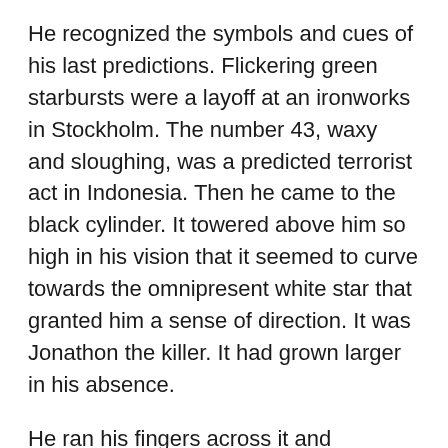He recognized the symbols and cues of his last predictions. Flickering green starbursts were a layoff at an ironworks in Stockholm. The number 43, waxy and sloughing, was a predicted terrorist act in Indonesia. Then he came to the black cylinder. It towered above him so high in his vision that it seemed to curve towards the omnipresent white star that granted him a sense of direction. It was Jonathon the killer. It had grown larger in his absence.
He ran his fingers across it and wondered why it had called him back. He heard the deep monotone wail of its influence stretching into the ether beyond the data and smelled its acrid stink like a burnt match.
Jonathon looked past it into the shifting fog of the unknown. A fist crushed his heart and he gasped for breath. The curtain of fog yanked violently away.